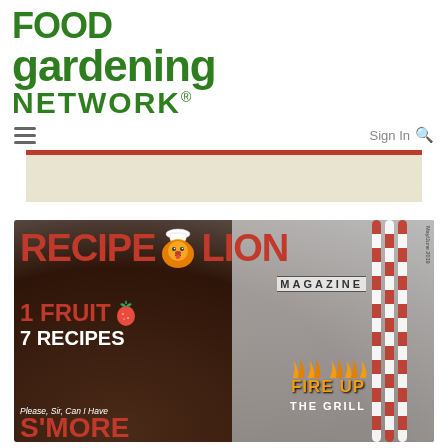[Figure (logo): Food Gardening Network logo in dark green bold text with leaf accent on the G]
≡   Sign In 🔍
[Figure (other): Banner advertisement placeholder with red top border and beige background]
[Figure (other): RecipeLion Magazine cover May/June 2019 featuring: RECIPE LION MAGAZINE title with cartoon lion mascot wearing a chef hat, '1 FRUIT 7 RECIPES' text in red, 'FIRE UP THE GRILL' in orange flame text, 'Please, Sir, Can I Have S'MORES' text, strawberry image, food background with chocolate dessert]